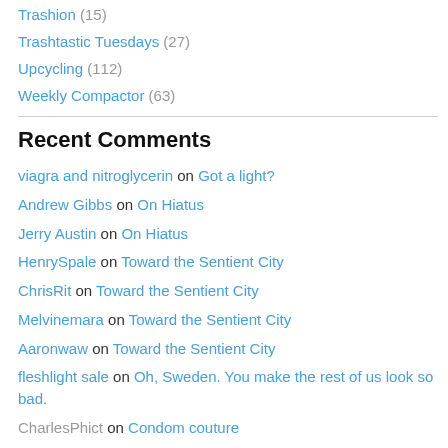Trashion (15)
Trashtastic Tuesdays (27)
Upcycling (112)
Weekly Compactor (63)
Recent Comments
viagra and nitroglycerin on Got a light?
Andrew Gibbs on On Hiatus
Jerry Austin on On Hiatus
HenrySpale on Toward the Sentient City
ChrisRit on Toward the Sentient City
Melvinemara on Toward the Sentient City
Aaronwaw on Toward the Sentient City
fleshlight sale on Oh, Sweden. You make the rest of us look so bad.
CharlesPhict on Condom couture
buy bitcoin credit card no id on Toward the Sentient City